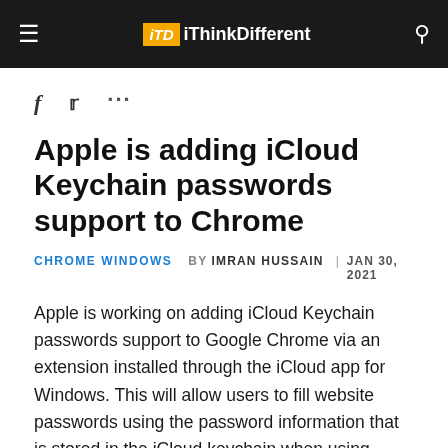iThinkDifferent
[Figure (logo): iThinkDifferent website header with hamburger menu, ITD logo in orange box, and search icon on dark background]
Apple is adding iCloud Keychain passwords support to Chrome
CHROME WINDOWS  BY IMRAN HUSSAIN  JAN 30, 2021
Apple is working on adding iCloud Keychain passwords support to Google Chrome via an extension installed through the iCloud app for Windows. This will allow users to fill website passwords using the password information that is stored in the iCloud keychain when using Safari on Mac, iPhone, or iPad.